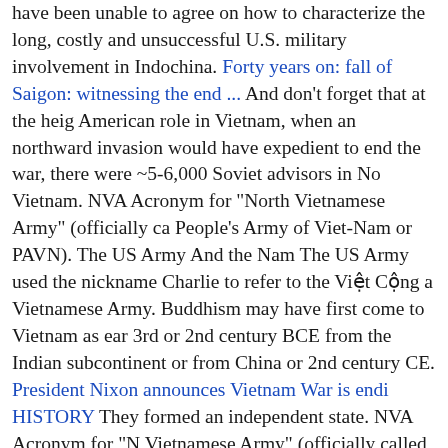have been unable to agree on how to characterize the long, costly and unsuccessful U.S. military involvement in Indochina. Forty years on: fall of Saigon: witnessing the end ... And don't forget that at the height of the American role in Vietnam, when an northward invasion would have been expedient to end the war, there were ~5-6,000 Soviet advisors in North Vietnam. NVA Acronym for "North Vietnamese Army" (officially called the People's Army of Viet-Nam or PAVN). The US Army And the Name... The US Army used the nickname Charlie to refer to the Việt Cộng and North Vietnamese Army. Buddhism may have first come to Vietnam as early as the 3rd or 2nd century BCE from the Indian subcontinent or from China, or 2nd century CE. President Nixon announces Vietnam War is ending | HISTORY They formed an independent state. NVA Acronym for "North Vietnamese Army" (officially called the People's Army of Viet-Nam). As the United States provided aid and support to South Vietnam, China and the Soviet Union did the same for North Vietnam, though the nature and extent of this support are not fully known. Why we went to war in Vietnam | The American Legion During celebrations of the Vietnamese New Year (called Tet) North Vietnam, supported by South . Even though the Viet Cong, or "National Liberation Front for South Vietnam", were in some ways separate from the People's Army of Vietnam in the North, fighting the same cause against the U.S. and the Southern Vietnamese government the U.S. was supporting...